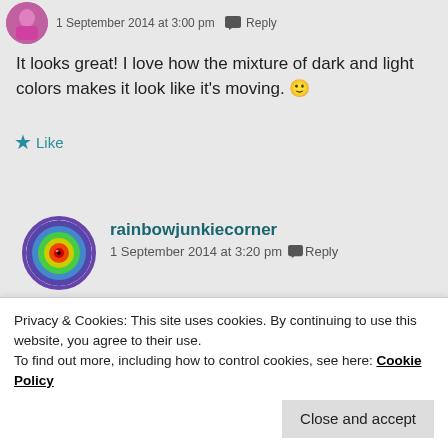1 September 2014 at 3:00 pm   Reply
It looks great! I love how the mixture of dark and light colors makes it look like it's moving. 🙂
★ Like
rainbowjunkiecorner
1 September 2014 at 3:20 pm   Reply
Privacy & Cookies: This site uses cookies. By continuing to use this website, you agree to their use.
To find out more, including how to control cookies, see here: Cookie Policy
Close and accept